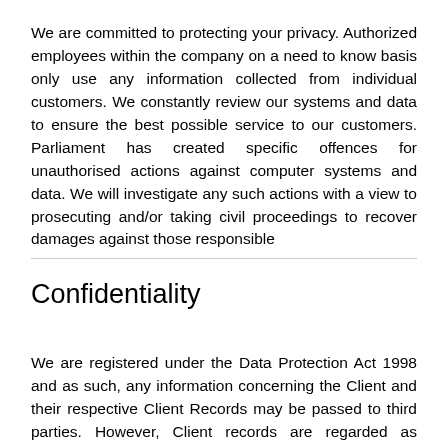We are committed to protecting your privacy. Authorized employees within the company on a need to know basis only use any information collected from individual customers. We constantly review our systems and data to ensure the best possible service to our customers. Parliament has created specific offences for unauthorised actions against computer systems and data. We will investigate any such actions with a view to prosecuting and/or taking civil proceedings to recover damages against those responsible
Confidentiality
We are registered under the Data Protection Act 1998 and as such, any information concerning the Client and their respective Client Records may be passed to third parties. However, Client records are regarded as confidential and therefore will not be divulged to any third party, or